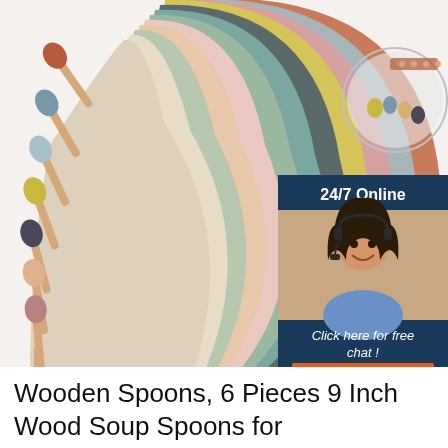[Figure (photo): Product photo showing multiple wooden spoons with colorful silicone tips arranged diagonally, alongside stacked colorful silicone bibs fanned out in various colors including terracotta, pink, yellow, teal, sage green, and gray. An inset shows a customer service chat widget with a woman wearing a headset, text '24/7 Online', 'Click here for free chat!', and an orange 'QUOTATION' button. A 'TOP' badge with orange triangle dots appears in the lower right of the photo.]
Wooden Spoons, 6 Pieces 9 Inch Wood Soup Spoons for